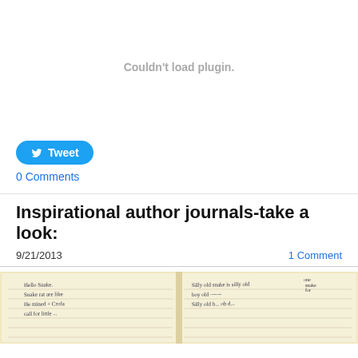[Figure (other): Plugin failed to load area showing 'Couldn't load plugin.' message in gray text on white background]
[Figure (other): Twitter Tweet button with bird icon on blue rounded background]
0 Comments
Inspirational author journals-take a look:
9/21/2013
1 Comment
[Figure (photo): Handwritten journal pages showing text including 'Hello Snake. Snake rat are like He mined + Crofa' on left page, and 'Silly old snake is silly old boy old...' on right page]